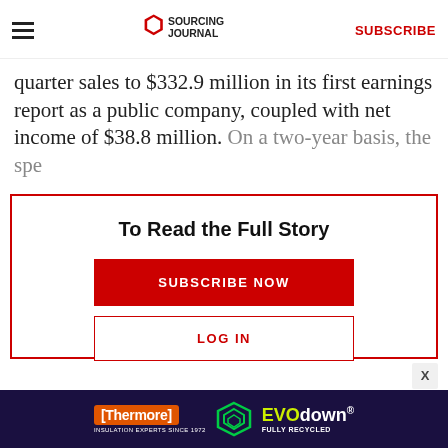Sourcing Journal — SUBSCRIBE
quarter sales to $332.9 million in its first earnings report as a public company, coupled with net income of $38.8 million. On a two-year basis, the spe
To Read the Full Story
SUBSCRIBE NOW
LOG IN
[Figure (screenshot): Thermore EVO down Fully Recycled advertisement banner at bottom of page]